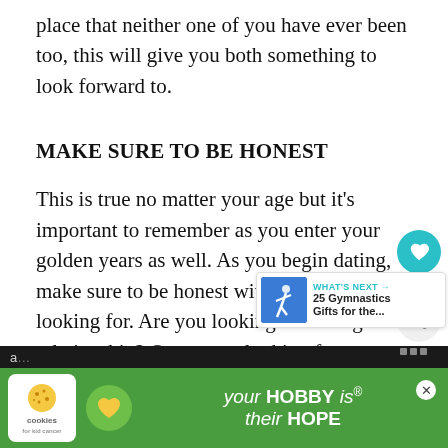place that neither one of you have ever been too, this will give you both something to look forward to.
MAKE SURE TO BE HONEST
This is true no matter your age but it's important to remember as you enter your golden years as well. As you begin dating, make sure to be honest with what you are looking for. Are you looking for a long term relationship? Or are you looking for a companion to go out with and have f... Similarly, it's important that you are honest
[Figure (screenshot): Social media sidebar with teal heart button showing 1 like and a share button]
[Figure (screenshot): What's Next widget showing '25 Gymnastics Gifts for the...' with blue gymnastics image]
[Figure (screenshot): Advertisement banner: cookies for kid cancer - your HOBBY is their HOPE on green background]